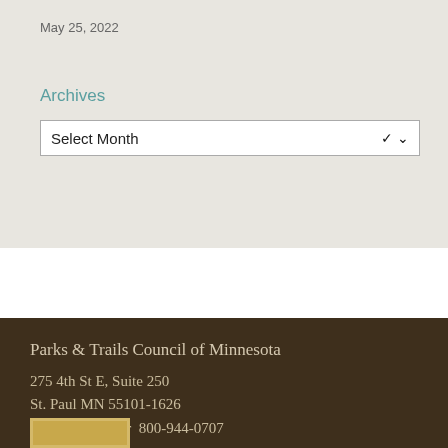May 25, 2022
Archives
Select Month
Parks & Trails Council of Minnesota
275 4th St E, Suite 250
St. Paul MN 55101-1626
651-726-2457 or  800-944-0707